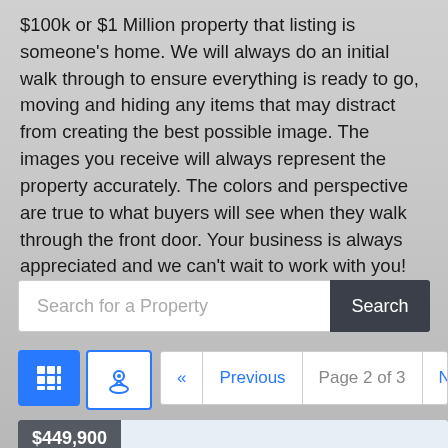$100k or $1 Million property that listing is someone's home. We will always do an initial walk through to ensure everything is ready to go, moving and hiding any items that may distract from creating the best possible image. The images you receive will always represent the property accurately. The colors and perspective are true to what buyers will see when they walk through the front door. Your business is always appreciated and we can't wait to work with you!
[Figure (screenshot): Search field with placeholder text 'Search for a Property' and a dark 'Search' button]
[Figure (screenshot): Two view toggle buttons: a blue grid icon button and a white map/person icon button with blue border]
[Figure (screenshot): Pagination controls: Previous, Page 2 of 3, Next with arrows]
[Figure (screenshot): Property listing card showing price $449,900 on a dark grey label over a light blue background]